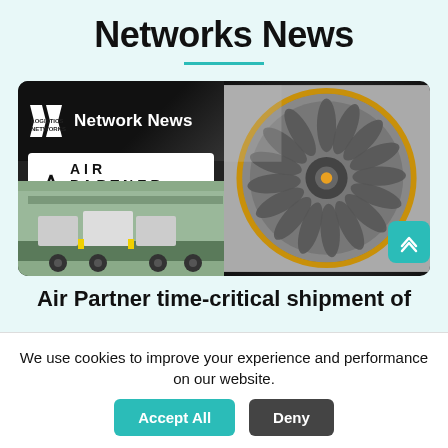Networks News
[Figure (photo): Left: Air Partner logo on black background with K2 Logistics Networks branding and a truck carrying oversized cargo. Right: Close-up photo of a jet engine turbine fan.]
Air Partner time-critical shipment of
We use cookies to improve your experience and performance on our website.
Accept All   Deny